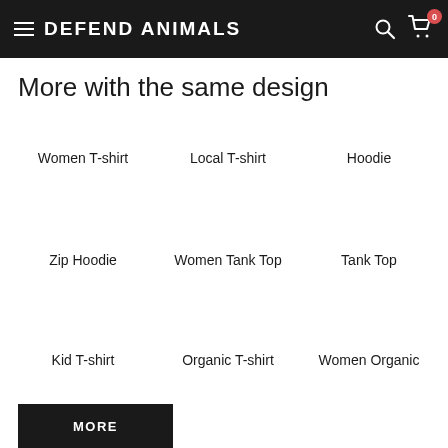DEFEND ANIMALS
More with the same design
Women T-shirt
Local T-shirt
Hoodie
Zip Hoodie
Women Tank Top
Tank Top
Kid T-shirt
Organic T-shirt
Women Organic
MORE